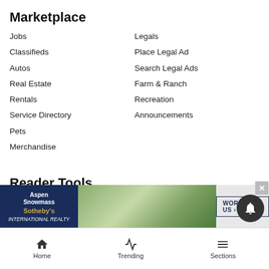Marketplace
Jobs
Legals
Classifieds
Place Legal Ad
Autos
Search Legal Ads
Real Estate
Farm & Ranch
Rentals
Recreation
Service Directory
Announcements
Pets
Merchandise
Reader Tools
Contact Us
Buy Photos
Become a Carrier
Commercial Print Sales
Submissions
RSS
Submit a Request to Update a Crime Story
Aspen E-edition
Snowmass E-edition
Submit a
Advertis
Archives
[Figure (infographic): Advertisement banner for Aspen Snowmass Sotheby's International Realty with a photo of a home with greenery and a 'WORK WITH US' call-to-action button]
Home  Trending  Sections